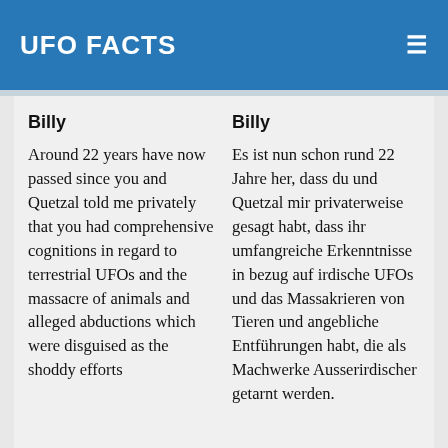UFO FACTS
Billy
Around 22 years have now passed since you and Quetzal told me privately that you had comprehensive cognitions in regard to terrestrial UFOs and the massacre of animals and alleged abductions which were disguised as the shoddy efforts
Billy
Es ist nun schon rund 22 Jahre her, dass du und Quetzal mir privaterweise gesagt habt, dass ihr umfangreiche Erkenntnisse in bezug auf irdische UFOs und das Massakrieren von Tieren und angebliche Entführungen habt, die als Machwerke Ausserirdischer getarnt werden.